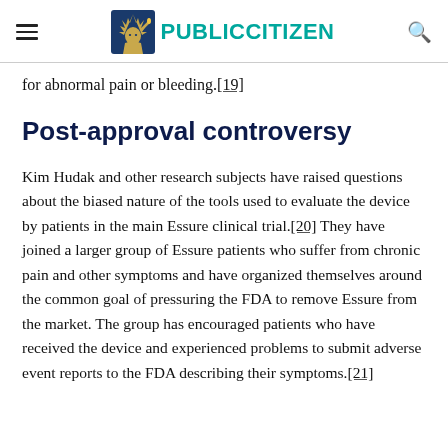Public Citizen
for abnormal pain or bleeding.[19]
Post-approval controversy
Kim Hudak and other research subjects have raised questions about the biased nature of the tools used to evaluate the device by patients in the main Essure clinical trial.[20] They have joined a larger group of Essure patients who suffer from chronic pain and other symptoms and have organized themselves around the common goal of pressuring the FDA to remove Essure from the market. The group has encouraged patients who have received the device and experienced problems to submit adverse event reports to the FDA describing their symptoms.[21]